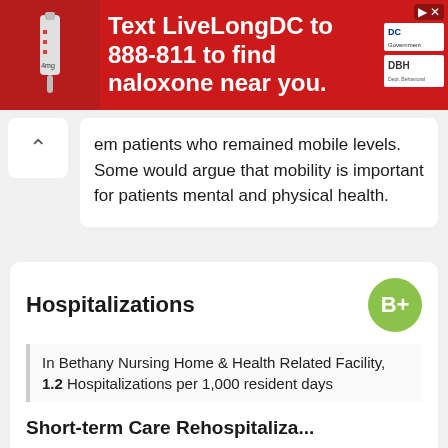[Figure (photo): Red advertisement banner: Text LiveLongDC to 888-811 to find naloxone near you, with syringe photo on left and DC/DBH logos on right]
em patients who remained mobile levels. Some would argue that mobility is important for patients mental and physical health.
Hospitalizations
In Bethany Nursing Home & Health Related Facility, 1.2 Hospitalizations per 1,000 resident days
This is the number of hospitalizations per 1,000 days of patient care. There is generally a correlation between keeping patients out of the hospital and the quality of care.
Short-term Care Rehospitalizations